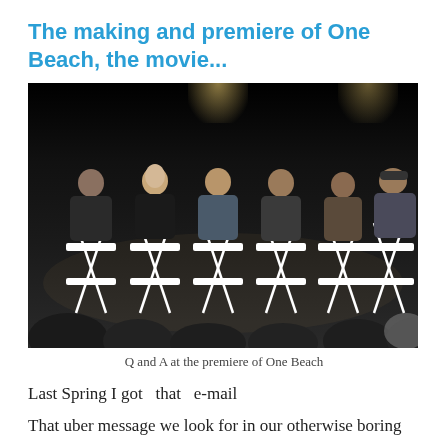The making and premiere of One Beach, the movie...
[Figure (photo): Group of six people seated on director's chairs on a dark stage during a Q and A panel at the premiere of One Beach. Audience heads visible in foreground.]
Q and A at the premiere of One Beach
Last Spring I got  that  e-mail
That uber message we look for in our otherwise boring